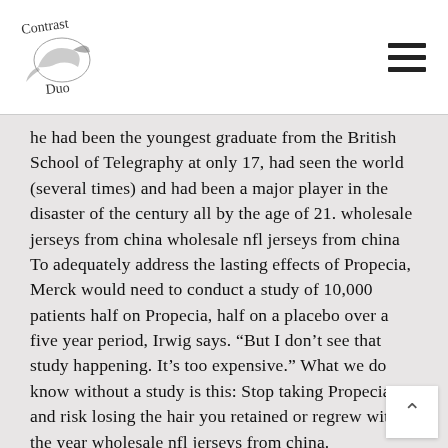Contrast Duo logo and navigation menu
he had been the youngest graduate from the British School of Telegraphy at only 17, had seen the world (several times) and had been a major player in the disaster of the century all by the age of 21. wholesale jerseys from china wholesale nfl jerseys from china To adequately address the lasting effects of Propecia, Merck would need to conduct a study of 10,000 patients half on Propecia, half on a placebo over a five year period, Irwig says. “But I don’t see that study happening. It’s too expensive.” What we do know without a study is this: Stop taking Propecia and risk losing the hair you retained or regrew within the year wholesale nfl jerseys from china.